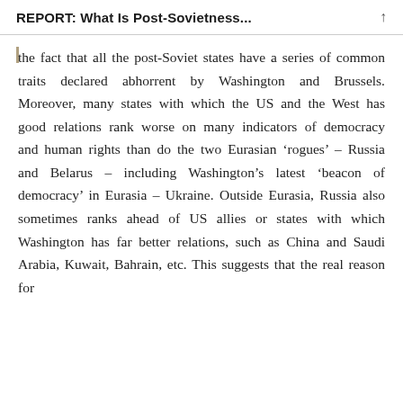REPORT: What Is Post-Sovietness...
the fact that all the post-Soviet states have a series of common traits declared abhorrent by Washington and Brussels. Moreover, many states with which the US and the West has good relations rank worse on many indicators of democracy and human rights than do the two Eurasian ‘rogues’ – Russia and Belarus – including Washington’s latest ‘beacon of democracy’ in Eurasia – Ukraine. Outside Eurasia, Russia also sometimes ranks ahead of US allies or states with which Washington has far better relations, such as China and Saudi Arabia, Kuwait, Bahrain, etc. This suggests that the real reason for